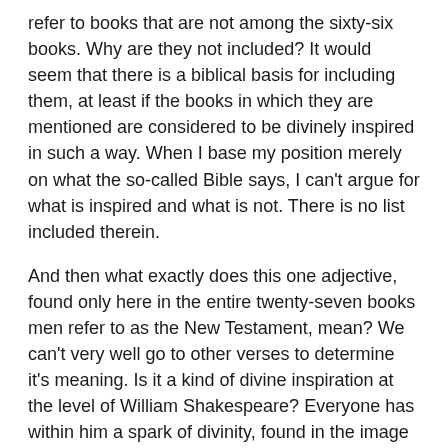refer to books that are not among the sixty-six books. Why are they not included? It would seem that there is a biblical basis for including them, at least if the books in which they are mentioned are considered to be divinely inspired in such a way. When I base my position merely on what the so-called Bible says, I can't argue for what is inspired and what is not. There is no list included therein.
And then what exactly does this one adjective, found only here in the entire twenty-seven books men refer to as the New Testament, mean? We can't very well go to other verses to determine it's meaning. Is it a kind of divine inspiration at the level of William Shakespeare? Everyone has within him a spark of divinity, found in the image of God, that interacts with him in a way for his natural gifts to be used to their greatest extent. We can't say from this verse what exactly this "inspiration" is all about. Should we not build such a large case on a singular usage of a word? Wouldn't this word have appeared many more times if it really was so important?
"Holy Men of God Spake As They Were Moved by the